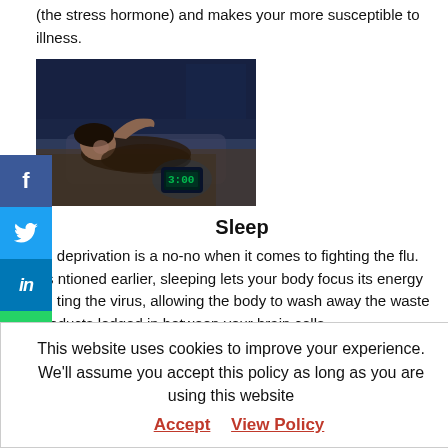(the stress hormone) and makes your more susceptible to illness.
[Figure (photo): Person lying in bed at night, unable to sleep, with a glowing digital alarm clock visible]
Sleep
Sleep deprivation is a no-no when it comes to fighting the flu. As mentioned earlier, sleeping lets your body focus its energy on fighting the virus, allowing the body to wash away the waste products lodged in between your brain cells.
This website uses cookies to improve your experience. We'll assume you accept this policy as long as you are using this website
Accept   View Policy